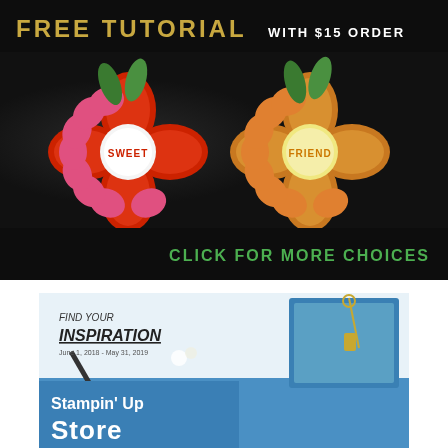[Figure (illustration): Top banner ad on dark/black background. Left side shows 'FREE TUTORIAL' in gold uppercase letters, right side shows 'WITH $15 ORDER' in white uppercase letters. Center shows two decorative flower crafts made from chocolate wrappers - one red/pink with 'SWEET' label, one gold/orange with 'FRIEND' label, each with green leaf accents. Bottom right shows 'CLICK FOR MORE CHOICES' in green uppercase letters.]
[Figure (illustration): Second banner showing 'FIND YOUR INSPIRATION' text with date 'June 1, 2018 - May 31, 2019', craft supplies and cards visible, with 'Stampin' Up Store' text in blue band at bottom.]